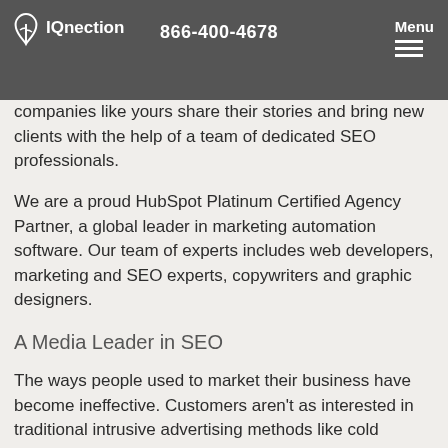IQnection | 866-400-4678 | Menu
companies like yours share their stories and bring new clients with the help of a team of dedicated SEO professionals.
We are a proud HubSpot Platinum Certified Agency Partner, a global leader in marketing automation software. Our team of experts includes web developers, marketing and SEO experts, copywriters and graphic designers.
A Media Leader in SEO
The ways people used to market their business have become ineffective. Customers aren't as interested in traditional intrusive advertising methods like cold calling, direct mail or billboards.
That's where the inbound marketing strategies used